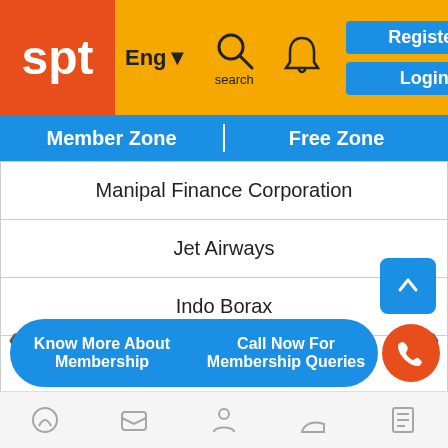[Figure (screenshot): SPT website header with orange logo, yellow background, Eng language selector, search icon, bell icon, Register and Login buttons]
Member Zone | Free Zone
Manipal Finance Corporation
Jet Airways
Indo Borax
Ruchira Papers
Goldstone Tech
Valson Industries
Ventura Textiles
Zenith Health Care
Know More About Membership
Call Now For Membership Queries